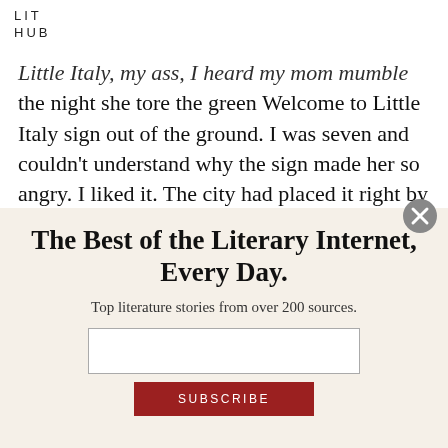LIT
HUB
Little Italy, my ass, I heard my mom mumble the night she tore the green Welcome to Little Italy sign out of the ground. I was seven and couldn't understand why the sign made her so angry. I liked it. The city had placed it right by our driveway, next to the stop sign on the corner where we lived. I ran inside and told my dad
The Best of the Literary Internet, Every Day.
Top literature stories from over 200 sources.
[Figure (other): Email subscription input field and SUBSCRIBE button on a newsletter modal overlay]